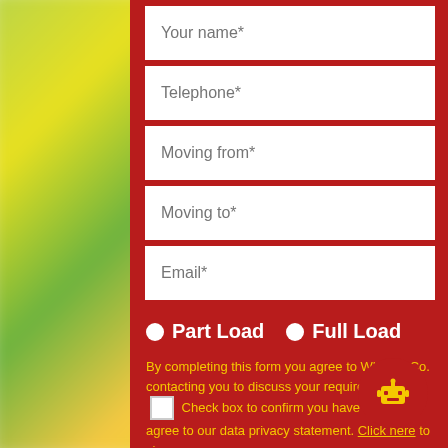[Figure (screenshot): Web form on a red panel with blurred colorful background. Fields: Your name*, Telephone*, Moving from*, Moving to*, Email*. Radio buttons for Part Load and Full Load. Consent text in yellow. Request a Quote button. Robot chat icon.]
Your name*
Telephone*
Moving from*
Moving to*
Email*
Part Load   Full Load
By completing this form you agree to White & Co. contacting you to discuss your requirements. ☐ Check box to confirm you have read and agree to our data privacy statement. Click here to view.
Request a Quote